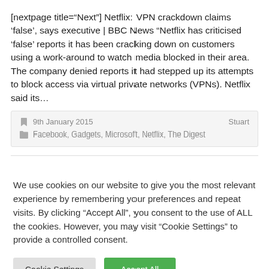[nextpage title="Next"] Netflix: VPN crackdown claims 'false', says executive | BBC News "Netflix has criticised 'false' reports it has been cracking down on customers using a work-around to watch media blocked in their area. The company denied reports it had stepped up its attempts to block access via virtual private networks (VPNs). Netflix said its...
9th January 2015   Stuart
Facebook, Gadgets, Microsoft, Netflix, The Digest
We use cookies on our website to give you the most relevant experience by remembering your preferences and repeat visits. By clicking "Accept All", you consent to the use of ALL the cookies. However, you may visit "Cookie Settings" to provide a controlled consent.